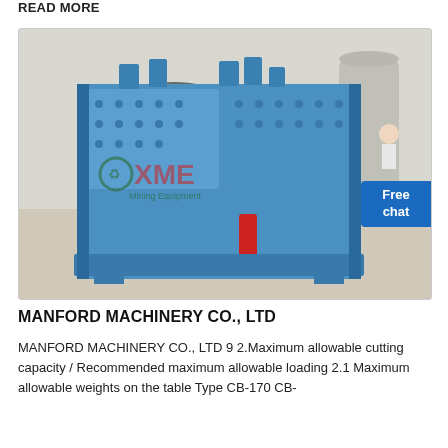READ MORE
[Figure (photo): Large blue industrial impact crusher machine (Manford Machinery Co., Ltd) shown in a warehouse/industrial setting. The machine is heavy-duty, painted blue, with bolted panels and mechanical components. An XME Mining Equipment watermark and logo overlay the image. A 'Free chat' button appears in the upper right corner of the image.]
MANFORD MACHINERY CO., LTD
MANFORD MACHINERY CO., LTD 9 2.Maximum allowable cutting capacity / Recommended maximum allowable loading 2.1 Maximum allowable weights on the table Type CB-170 CB-